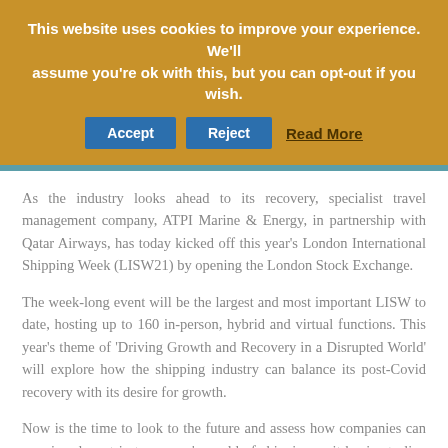This website uses cookies to improve your experience. We'll assume you're ok with this, but you can opt-out if you wish. Accept Reject Read More
As the industry looks ahead to its recovery, specialist travel management company, ATPI Marine & Energy, in partnership with Qatar Airways, has today kicked off this year's London International Shipping Week (LISW21) by opening the London Stock Exchange.
The week-long event will be the largest and most important LISW to date, hosting up to 160 in-person, hybrid and virtual functions. This year's theme of 'Driving Growth and Recovery in a Disrupted World' will explore how the shipping industry can balance its post-Covid recovery with its desire for growth.
Now is the time to look to the future and assess how companies can remain relevant in tomorrow's world of shipping as it begins to live with Covid. The industry is changing, with the global pandemic pushing